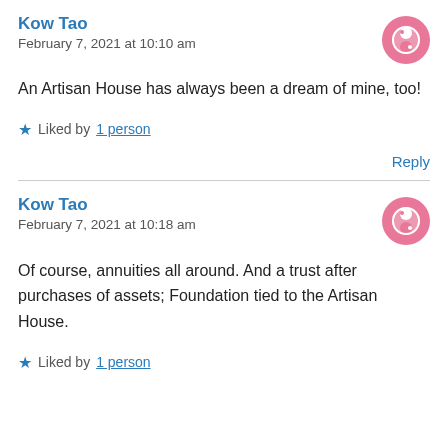Kow Tao
February 7, 2021 at 10:10 am
An Artisan House has always been a dream of mine, too!
Liked by 1 person
Reply
Kow Tao
February 7, 2021 at 10:18 am
Of course, annuities all around. And a trust after purchases of assets; Foundation tied to the Artisan House.
Liked by 1 person